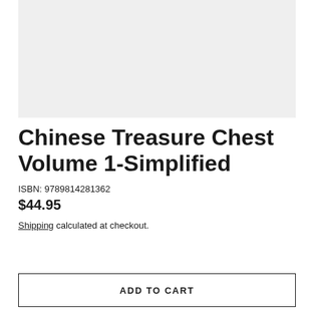[Figure (photo): Light gray placeholder rectangle representing a book cover image area]
Chinese Treasure Chest Volume 1-Simplified
ISBN: 9789814281362
$44.95
Shipping calculated at checkout.
ADD TO CART